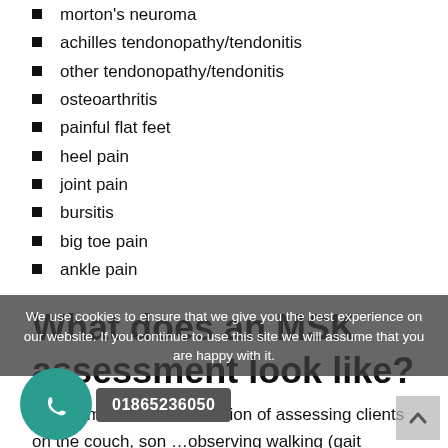morton's neuroma
achilles tendonopathy/tendonitis
other tendonopathy/tendonitis
osteoarthritis
painful flat feet
heel pain
joint pain
bursitis
big toe pain
ankle pain
What does an MSK assessment look like?
Assessment is a combination of assessing clients on the couch, s…on …observing walking (gait analysis). Gait analysis is often assisted by video gait analysis technology, in